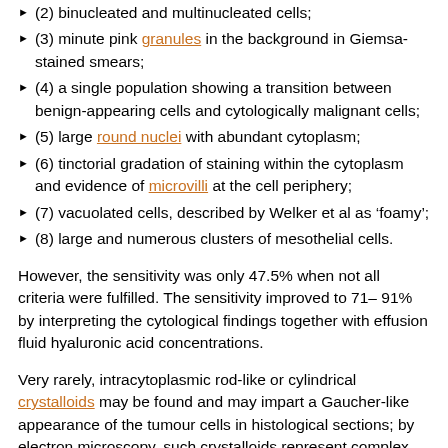(2) binucleated and multinucleated cells;
(3) minute pink granules in the background in Giemsa-stained smears;
(4) a single population showing a transition between benign-appearing cells and cytologically malignant cells;
(5) large round nuclei with abundant cytoplasm;
(6) tinctorial gradation of staining within the cytoplasm and evidence of microvilli at the cell periphery;
(7) vacuolated cells, described by Welker et al as ‘foamy’;
(8) large and numerous clusters of mesothelial cells.
However, the sensitivity was only 47.5% when not all criteria were fulfilled. The sensitivity improved to 71– 91% by interpreting the cytological findings together with effusion fluid hyaluronic acid concentrations.
Very rarely, intracytoplasmic rod-like or cylindrical crystalloids may be found and may impart a Gaucher-like appearance of the tumour cells in histological sections; by electron microscopy, such crystalloids represent complex